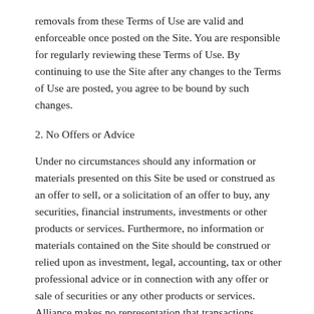removals from these Terms of Use are valid and enforceable once posted on the Site. You are responsible for regularly reviewing these Terms of Use. By continuing to use the Site after any changes to the Terms of Use are posted, you agree to be bound by such changes.
2. No Offers or Advice
Under no circumstances should any information or materials presented on this Site be used or construed as an offer to sell, or a solicitation of an offer to buy, any securities, financial instruments, investments or other products or services. Furthermore, no information or materials contained on the Site should be construed or relied upon as investment, legal, accounting, tax or other professional advice or in connection with any offer or sale of securities or any other products or services. Alliance makes no representation that transactions, products or services discussed on the Site are available or appropriate for sale or use in all jurisdictions or by all investors. Alliance may only transact business or render advice in those jurisdictions where Alliance is registered or otherwise excluded or exempted from